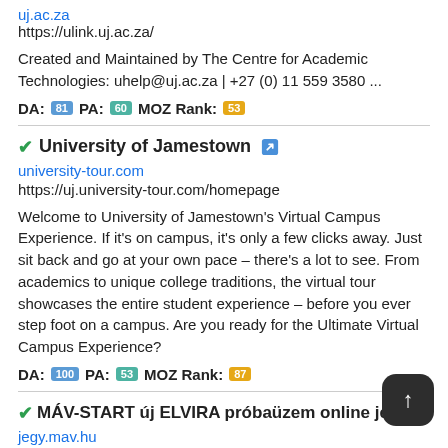uj.ac.za
https://ulink.uj.ac.za/
Created and Maintained by The Centre for Academic Technologies: uhelp@uj.ac.za | +27 (0) 11 559 3580 ...
DA: 81 PA: 60 MOZ Rank: 53
University of Jamestown
university-tour.com
https://uj.university-tour.com/homepage
Welcome to University of Jamestown's Virtual Campus Experience. If it's on campus, it's only a few clicks away. Just sit back and go at your own pace – there's a lot to see. From academics to unique college traditions, the virtual tour showcases the entire student experience – before you ever step foot on a campus. Are you ready for the Ultimate Virtual Campus Experience?
DA: 100 PA: 53 MOZ Rank: 87
MÁV-START új ELVIRA próbaüzem online jegyvásár...
jegy.mav.hu